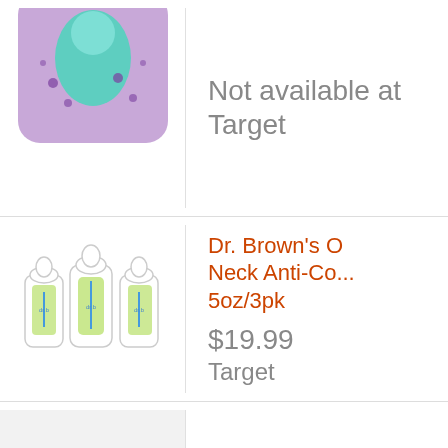[Figure (photo): Product image of a purple/teal baby item (partially cropped at top)]
Not available at
Target
[Figure (photo): Dr. Brown's wide neck anti-colic baby bottles, 5oz 3-pack, three clear bottles with green vents]
Dr. Brown's O (Wide) Neck Anti-Co... 5oz/3pk
$19.99
Target
[Figure (photo): Ballerina doll with dark skin, wearing a pink tutu, braided hair in a bun]
Ballerina Dre... Purple - Pillo...
$15.00